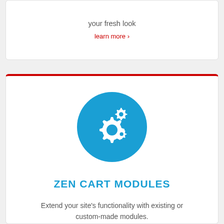your fresh look
learn more ›
[Figure (illustration): Blue circle icon with white gear/cog symbols representing modules or settings]
ZEN CART MODULES
Extend your site's functionality with existing or custom-made modules.